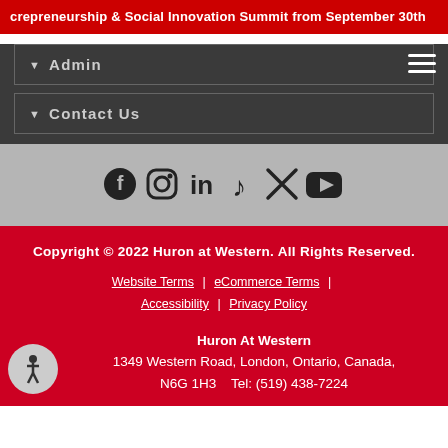crepreneurship & Social Innovation Summit from September 30th
Admin
Contact Us
[Figure (infographic): Social media icons row: Facebook, Instagram, LinkedIn, TikTok, Twitter/X, YouTube]
Copyright © 2022 Huron at Western. All Rights Reserved. Website Terms | eCommerce Terms | Accessibility | Privacy Policy
Huron At Western
1349 Western Road, London, Ontario, Canada, N6G 1H3    Tel: (519) 438-7224